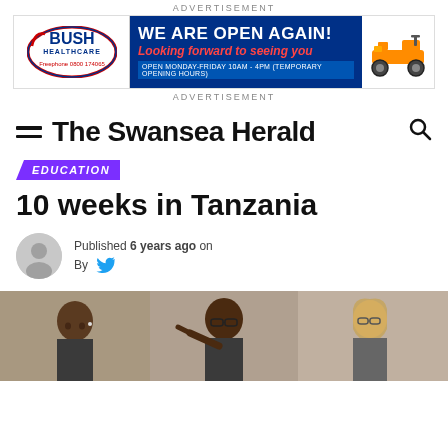ADVERTISEMENT
[Figure (illustration): Bush Healthcare advertisement banner: logo on left, 'WE ARE OPEN AGAIN! Looking forward to seeing you' text in center on blue background, mobility scooter image on right]
ADVERTISEMENT
The Swansea Herald
EDUCATION
10 weeks in Tanzania
Published 6 years ago on
By
[Figure (photo): Three people in an indoor setting, two Black men and one white woman with glasses and blonde hair, appearing to be in a discussion or presentation]